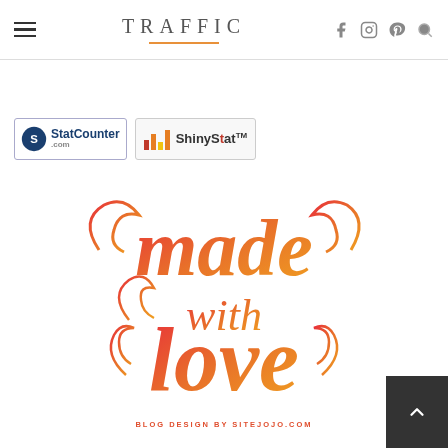TRAFFIC
[Figure (logo): StatCounter.com badge logo]
[Figure (logo): ShinyStatTM badge logo]
[Figure (illustration): made with love calligraphy graphic in orange-red gradient]
BLOG DESIGN BY SITEJOJO.COM